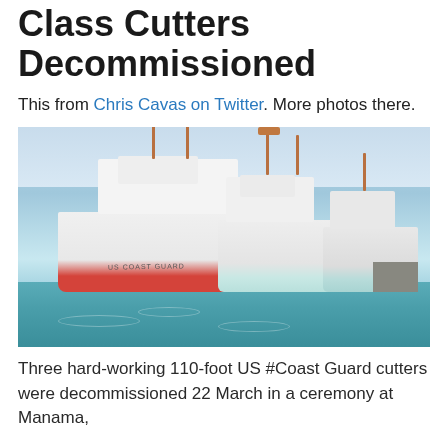Class Cutters Decommissioned
This from Chris Cavas on Twitter. More photos there.
[Figure (photo): Three US Coast Guard 110-foot cutters moored side by side at a dock in Manama, with white hulls, orange/red diagonal stripe, masts with radar equipment, and teal-green water in the foreground.]
Three hard-working 110-foot US #Coast Guard cutters were decommissioned 22 March in a ceremony at Manama,